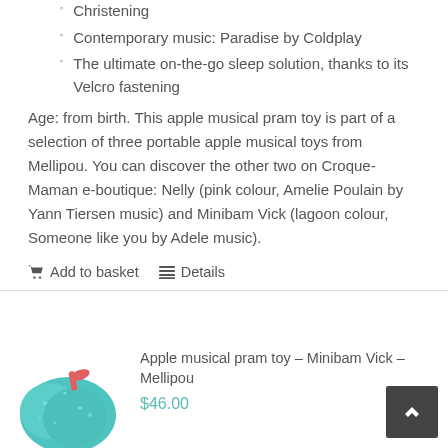Christening
Contemporary music: Paradise by Coldplay
The ultimate on-the-go sleep solution, thanks to its Velcro fastening
Age: from birth. This apple musical pram toy is part of a selection of three portable apple musical toys from Mellipou. You can discover the other two on Croque-Maman e-boutique: Nelly (pink colour, Amelie Poulain by Yann Tiersen music) and Minibam Vick (lagoon colour, Someone like you by Adele music).
Add to basket   Details
Apple musical pram toy – Minibam Vick – Mellipou
$46.00